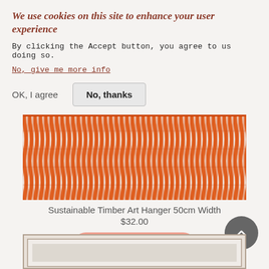We use cookies on this site to enhance your user experience
By clicking the Accept button, you agree to us doing so.
No, give me more info
OK, I agree
No, thanks
[Figure (photo): Close-up photo of orange/red chunky knotted or woven textile fringe with dark cord at top, against white background]
Sustainable Timber Art Hanger 50cm Width
$32.00
+ ADD TO CART
[Figure (photo): Partial view of a framed artwork or print in a light wood/gray frame at bottom of page]